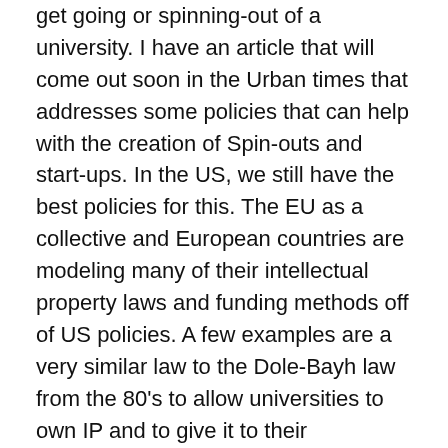get going or spinning-out of a university. I have an article that will come out soon in the Urban times that addresses some policies that can help with the creation of Spin-outs and start-ups. In the US, we still have the best policies for this. The EU as a collective and European countries are modeling many of their intellectual property laws and funding methods off of US policies. A few examples are a very similar law to the Dole-Bayh law from the 80's to allow universities to own IP and to give it to their employees if they wish. The creation of technology incubators – this was a truly American innovation, innovation prize contests and national seed funds. The continual reinvention of these policies in the US allows us to create more new companies than European counterparts from a variety of sources.
Are there other policies that hurt the creation of